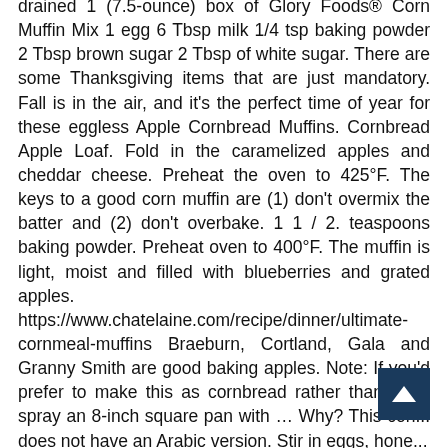1 (7.5-ounce) box of Glory Foods® Corn Muffin Mix 1 egg 6 Tbsp milk 1/4 tsp baking powder 2 Tbsp brown sugar 2 Tbsp of white sugar. There are some Thanksgiving items that are just mandatory. Fall is in the air, and it's the perfect time of year for these eggless Apple Cornbread Muffins. Cornbread Apple Loaf. Fold in the caramelized apples and cheddar cheese. Preheat the oven to 425°F. The keys to a good corn muffin are (1) don't overmix the batter and (2) don't overbake. 1 1 / 2. teaspoons baking powder. Preheat oven to 400°F. The muffin is light, moist and filled with blueberries and grated apples. https://www.chatelaine.com/recipe/dinner/ultimate-cornmeal-muffins Braeburn, Cortland, Gala and Granny Smith are good baking apples. Note: If you'd prefer to make this as cornbread rather than mu... spray an 8-inch square pan with … Why? This con... does not have an Arabic version. Stir in eggs, hone...